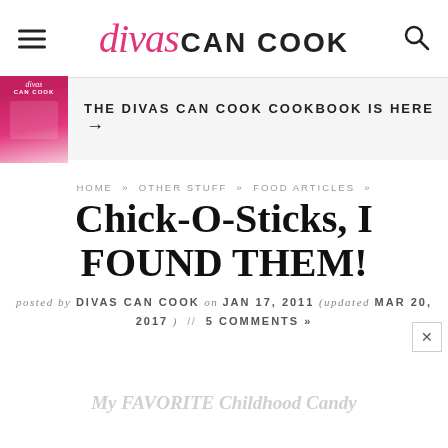divas CAN COOK
THE DIVAS CAN COOK COOKBOOK IS HERE →
HOME » OTHER STUFF » FOOD ARTICLES »
Chick-O-Sticks, I FOUND THEM!
posted by DIVAS CAN COOK on JAN 17, 2011 (updated MAR 20, 2017) // 5 COMMENTS »
My FAVORITE Childhood Candy